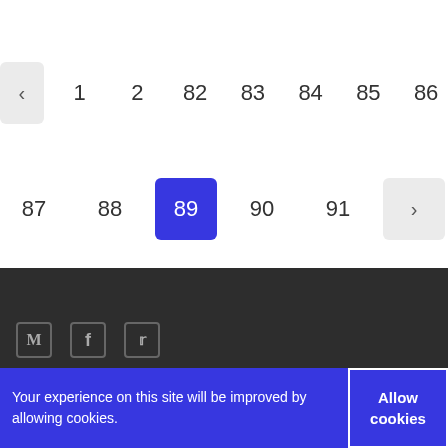[Figure (screenshot): Pagination navigation component showing two rows of page number buttons. Row 1: back arrow (nav), 1, 2, 82, 83, 84, 85, 86. Row 2: 87, 88, 89 (active/selected in blue), 90, 91, forward arrow (nav). Page 89 is highlighted in blue/indigo background with white text.]
Your experience on this site will be improved by allowing cookies. | Allow cookies